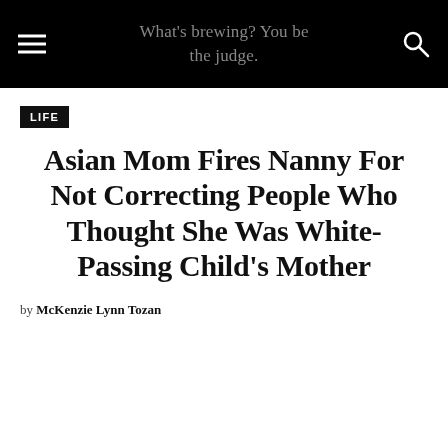What's brewing? You be the judge.
LIFE
Asian Mom Fires Nanny For Not Correcting People Who Thought She Was White-Passing Child's Mother
by McKenzie Lynn Tozan